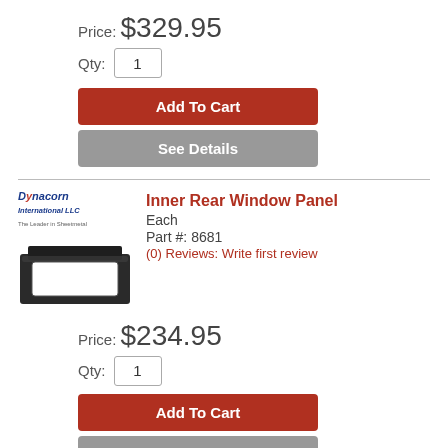Price: $329.95
Qty: 1
Add To Cart
See Details
[Figure (photo): Dynacorn International LLC logo and product photo of Inner Rear Window Panel (black metal panel with rectangular window cutout)]
Inner Rear Window Panel
Each
Part #: 8681
(0) Reviews: Write first review
Price: $234.95
Qty: 1
Add To Cart
See Details
[Figure (logo): Dynacorn International LLC logo]
Inner Rear Window Panel